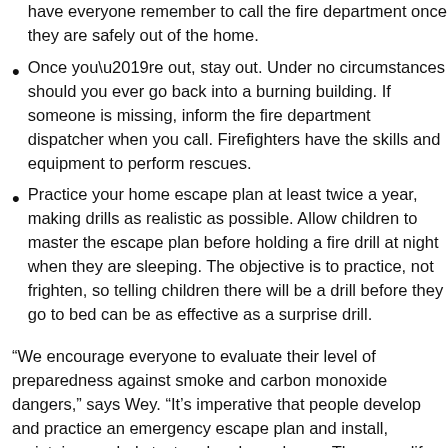have everyone remember to call the fire department once they are safely out of the home.
Once you’re out, stay out. Under no circumstances should you ever go back into a burning building. If someone is missing, inform the fire department dispatcher when you call. Firefighters have the skills and equipment to perform rescues.
Practice your home escape plan at least twice a year, making drills as realistic as possible. Allow children to master the escape plan before holding a fire drill at night when they are sleeping. The objective is to practice, not frighten, so telling children there will be a drill before they go to bed can be as effective as a surprise drill.
“We encourage everyone to evaluate their level of preparedness against smoke and carbon monoxide dangers,” says Wey. “It’s imperative that people develop and practice an emergency escape plan and install, maintain, regularly test and replace alarms. These are life-saving practices that can